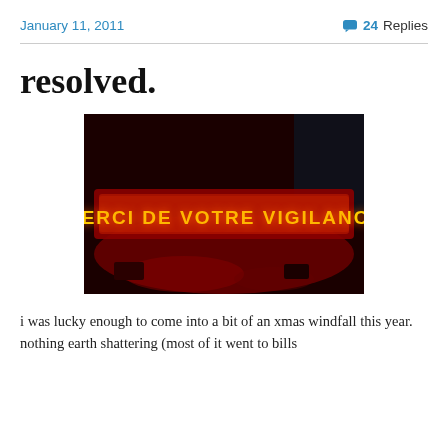January 11, 2011 | 24 Replies
resolved.
[Figure (photo): Neon sign reading 'MERCI DE VOTRE VIGILANCE' in orange/yellow letters against a dark red-lit background]
i was lucky enough to come into a bit of an xmas windfall this year. nothing earth shattering (most of it went to bills